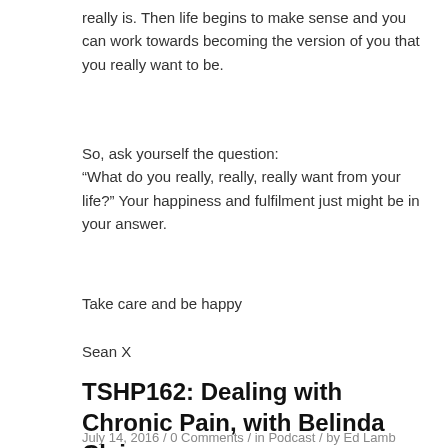really is. Then life begins to make sense and you can work towards becoming the version of you that you really want to be.
So, ask yourself the question:
“What do you really, really, really want from your life?” Your happiness and fulfilment just might be in your answer.
Take care and be happy
Sean X
TSHP162: Dealing with Chronic Pain, with Belinda Claire
July 14, 2016 / 0 Comments / in Podcast / by Ed Lamb